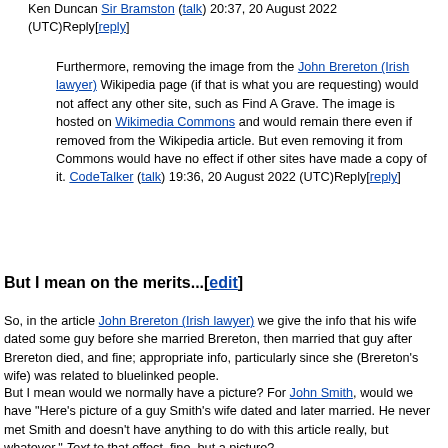Ken Duncan Sir Bramston (talk) 20:37, 20 August 2022 (UTC)Reply[reply]
Furthermore, removing the image from the John Brereton (Irish lawyer) Wikipedia page (if that is what you are requesting) would not affect any other site, such as Find A Grave. The image is hosted on Wikimedia Commons and would remain there even if removed from the Wikipedia article. But even removing it from Commons would have no effect if other sites have made a copy of it. CodeTalker (talk) 19:36, 20 August 2022 (UTC)Reply[reply]
But I mean on the merits...[edit]
So, in the article John Brereton (Irish lawyer) we give the info that his wife dated some guy before she married Brereton, then married that guy after Brereton died, and fine; appropriate info, particularly since she (Brereton's wife) was related to bluelinked people.
But I mean would we normally have a picture? For John Smith, would we have "Here's picture of a guy Smith's wife dated and later married. He never met Smith and doesn't have anything to do with this article really, but whatever." Text to that effect, fine, but a picture?